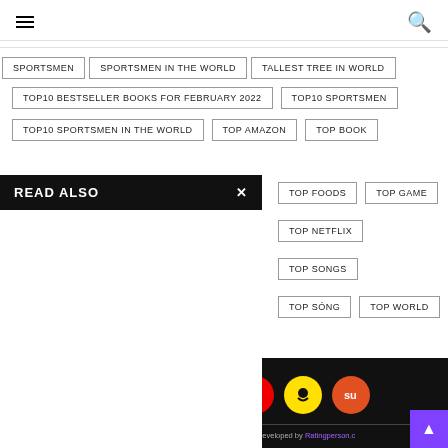Navigation bar with hamburger menu and search icon
SPORTSMEN
SPORTSMEN IN THE WORLD
TALLEST TREE IN WORLD
TOP10 BESTSELLER BOOKS FOR FEBRUARY 2022
TOP10 SPORTSMEN
TOP10 SPORTSMEN IN THE WORLD
TOP AMAZON
TOP BOOK
TOP FOODS
TOP GAME
TOP NETFLIX
TOP SONGS
TOP SÓNG
TOP WORLD
READ ALSO
[Figure (screenshot): Social media icons: YouTube (red), Snapchat (yellow), StumbleUpon (orange-red)]
d Developed by Ratingperson.c